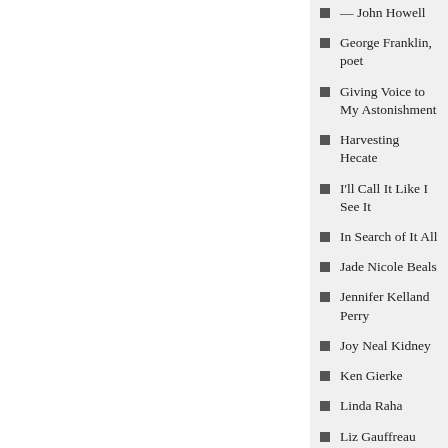— John Howell
George Franklin, poet
Giving Voice to My Astonishment
Harvesting Hecate
I'll Call It Like I See It
In Search of It All
Jade Nicole Beals
Jennifer Kelland Perry
Joy Neal Kidney
Ken Gierke
Linda Raha
Liz Gauffreau
Myricopia